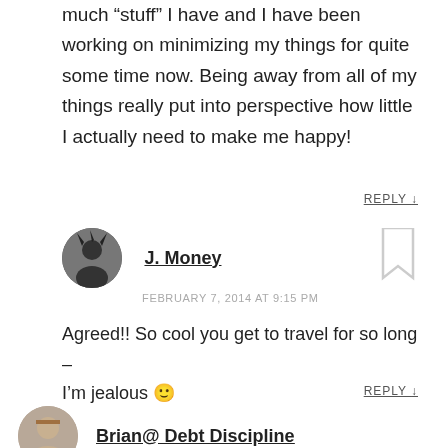much “stuff” I have and I have been working on minimizing my things for quite some time now. Being away from all of my things really put into perspective how little I actually need to make me happy!
REPLY ↓
J. Money
FEBRUARY 7, 2014 AT 9:15 PM
Agreed!! So cool you get to travel for so long – I’m jealous 🙂
REPLY ↓
Brian@ Debt Discipline